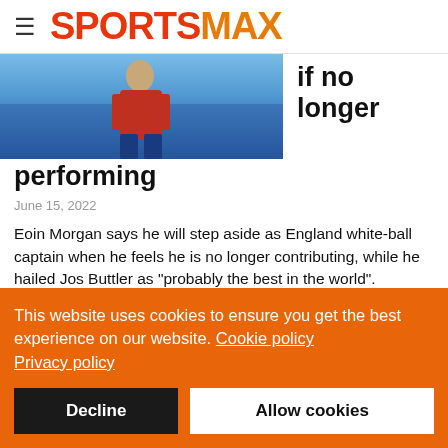SPORTSMAX
[Figure (photo): Sports photo partially visible at top, showing an athlete in blue/red kit against a blue background]
if no longer performing
June 15, 2022
Eoin Morgan says he will step aside as England white-ball captain when he feels he is no longer contributing, while he hailed Jos Buttler as "probably the best in the world".
Morgan has overseen a period of transformative change with
This website uses cookies to ensure you get the best experience on our website. Cookie policy Privacy policy
Decline
Allow cookies